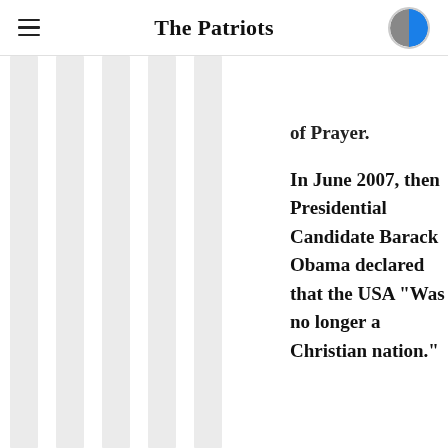The Patriots
of Prayer.
In June 2007, then Presidential Candidate Barack Obama declared that the USA "Was no longer a Christian nation."